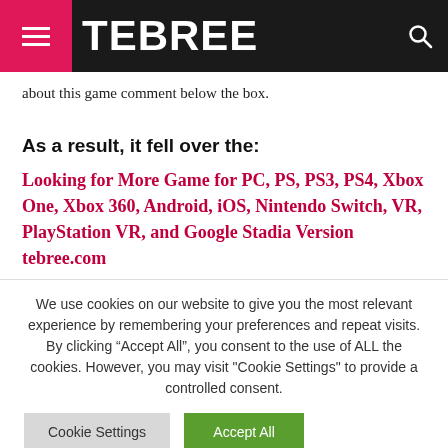TEBREE
about this game comment below the box.
As a result, it fell over the:
Looking for More Game for PC, PS, PS3, PS4, Xbox One, Xbox 360, Android, iOS, Nintendo Switch, VR, PlayStation VR, and Google Stadia Version tebree.com
We use cookies on our website to give you the most relevant experience by remembering your preferences and repeat visits. By clicking “Accept All”, you consent to the use of ALL the cookies. However, you may visit "Cookie Settings" to provide a controlled consent.